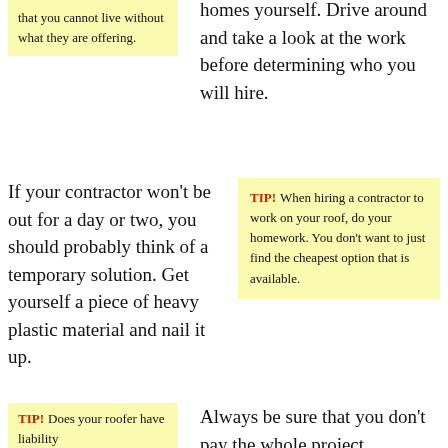that you cannot live without what they are offering.
homes yourself. Drive around and take a look at the work before determining who you will hire.
If your contractor won't be out for a day or two, you should probably think of a temporary solution. Get yourself a piece of heavy plastic material and nail it up.
TIP! When hiring a contractor to work on your roof, do your homework. You don't want to just find the cheapest option that is available.
TIP! Does your roofer have liability
Always be sure that you don't pay the whole project